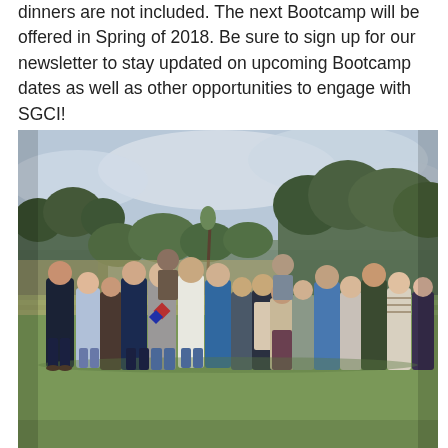dinners are not included. The next Bootcamp will be offered in Spring of 2018. Be sure to sign up for our newsletter to stay updated on upcoming Bootcamp dates as well as other opportunities to engage with SGCI!
[Figure (photo): Group photo of approximately 20 people standing outdoors on a grassy field with trees and cloudy sky in the background. The group consists of men and women of various ages, casually dressed.]